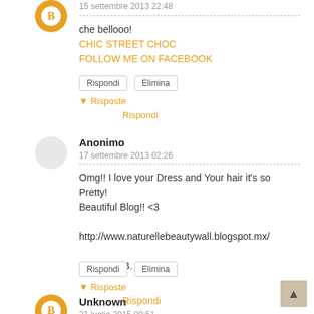15 settembre 2013 22:48
che bellooo!
CHIC STREET CHOC
FOLLOW ME ON FACEBOOK
Rispondi  Elimina
▼ Risposte
Rispondi
Anonimo
17 settembre 2013 02:26
Omg!! I love your Dress and Your hair it's so Pretty! Beautiful Blog!! <3

http://www.naturellebeautywall.blogspot.mx/

Att. Alexa B.
Rispondi  Elimina
▼ Risposte
Rispondi
Unknown
21 luglio 2015 09:51